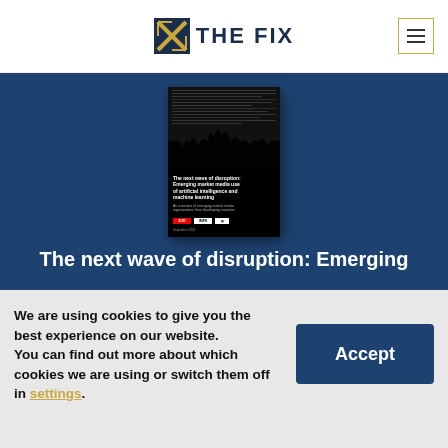THE FIX
[Figure (screenshot): Website screenshot showing The Fix logo header with hamburger menu, blue hero section with a book cover image of 'The next wave of disruption: Emerging market media use of artificial intelligence and machine learning', and a cookie consent banner at the bottom with Accept button.]
The next wave of disruption: Emerging
We are using cookies to give you the best experience on our website.
You can find out more about which cookies we are using or switch them off in settings.